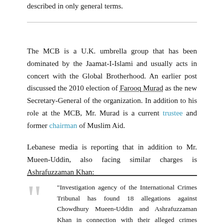described in only general terms.
The MCB is a U.K. umbrella group that has been dominated by the Jaamat-I-Islami and usually acts in concert with the Global Brotherhood. An earlier post discussed the 2010 election of Farooq Murad as the new Secretary-General of the organization. In addition to his role at the MCB, Mr. Murad is a current trustee and former chairman of Muslim Aid.
Lebanese media is reporting that in addition to Mr. Mueen-Uddin, also facing similar charges is Ashrafuzzaman Khan:
“Investigation agency of the International Crimes Tribunal has found 18 allegations against Chowdhury Mueen-Uddin and Ashrafuzzaman Khan in connection with their alleged crimes against humanity committed during the country’s Liberation War. ….Hannan said the investigation found that both of them were active members of the Islami Chhatra